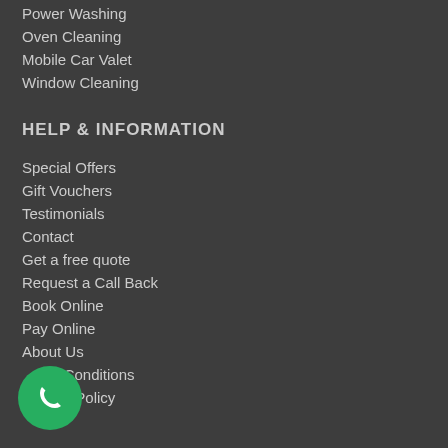Power Washing
Oven Cleaning
Mobile Car Valet
Window Cleaning
HELP & INFORMATION
Special Offers
Gift Vouchers
Testimonials
Contact
Get a free quote
Request a Call Back
Book Online
Pay Online
About Us
Terms & Conditions
Privacy Policy
[Figure (illustration): Green circular phone call button with white handset icon]